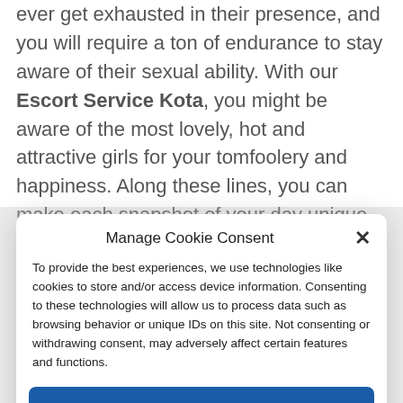ever get exhausted in their presence, and you will require a ton of endurance to stay aware of their sexual ability. With our Escort Service Kota, you might be aware of the most lovely, hot and attractive girls for your tomfoolery and happiness. Along these lines, you can make each snapshot of your day unique with model escorts girls who are past lovely. With our service, each client gets the chance to pick their beauty queen and who isn't just wonderful yet
Manage Cookie Consent
To provide the best experiences, we use technologies like cookies to store and/or access device information. Consenting to these technologies will allow us to process data such as browsing behavior or unique IDs on this site. Not consenting or withdrawing consent, may adversely affect certain features and functions.
Accept
Cookie Policy